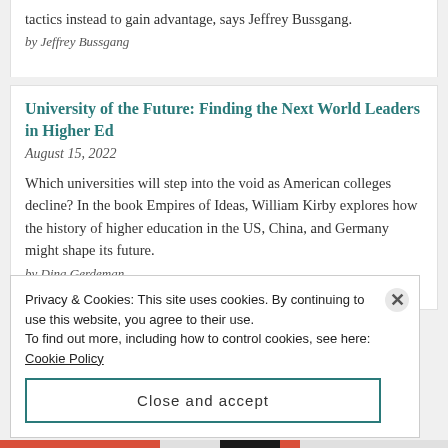tactics instead to gain advantage, says Jeffrey Bussgang.
by Jeffrey Bussgang
University of the Future: Finding the Next World Leaders in Higher Ed
August 15, 2022
Which universities will step into the void as American colleges decline? In the book Empires of Ideas, William Kirby explores how the history of higher education in the US, China, and Germany might shape its future.
by Dina Gerdeman
Privacy & Cookies: This site uses cookies. By continuing to use this website, you agree to their use.
To find out more, including how to control cookies, see here: Cookie Policy
Close and accept